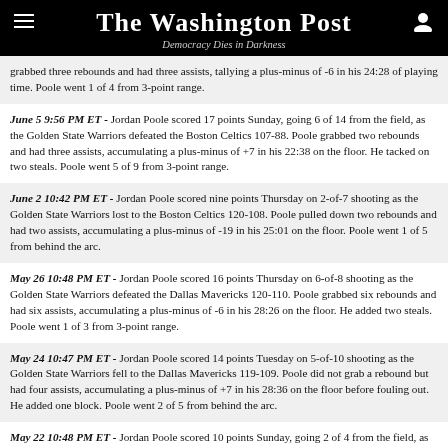The Washington Post
Democracy Dies in Darkness
grabbed three rebounds and had three assists, tallying a plus-minus of -6 in his 24:28 of playing time. Poole went 1 of 4 from 3-point range.
June 5 9:56 PM ET - Jordan Poole scored 17 points Sunday, going 6 of 14 from the field, as the Golden State Warriors defeated the Boston Celtics 107-88. Poole grabbed two rebounds and had three assists, accumulating a plus-minus of +7 in his 22:38 on the floor. He tacked on two steals. Poole went 5 of 9 from 3-point range.
June 2 10:42 PM ET - Jordan Poole scored nine points Thursday on 2-of-7 shooting as the Golden State Warriors lost to the Boston Celtics 120-108. Poole pulled down two rebounds and had two assists, accumulating a plus-minus of -19 in his 25:01 on the floor. Poole went 1 of 5 from behind the arc.
May 26 10:48 PM ET - Jordan Poole scored 16 points Thursday on 6-of-8 shooting as the Golden State Warriors defeated the Dallas Mavericks 120-110. Poole grabbed six rebounds and had six assists, accumulating a plus-minus of -6 in his 28:26 on the floor. He added two steals. Poole went 1 of 3 from 3-point range.
May 24 10:47 PM ET - Jordan Poole scored 14 points Tuesday on 5-of-10 shooting as the Golden State Warriors fell to the Dallas Mavericks 119-109. Poole did not grab a rebound but had four assists, accumulating a plus-minus of +7 in his 28:36 on the floor before fouling out. He added one block. Poole went 2 of 5 from behind the arc.
May 22 10:48 PM ET - Jordan Poole scored 10 points Sunday, going 2 of 4 from the field, as the Golden State Warriors topped the Dallas Mavericks 109-100. Poole pulled down five rebounds and added an assist, tallying a plus-minus of -6 in his 27:56 of playing time. He added two steals. Poole went 2 of 4 from 3-point range.